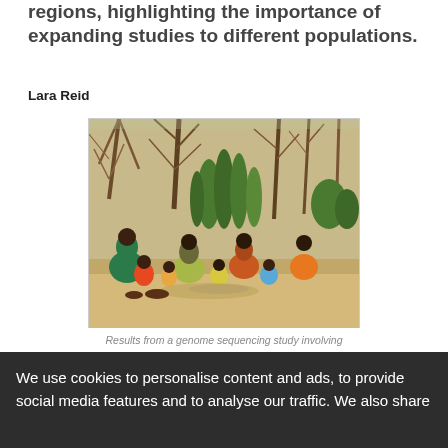regions, highlighting the importance of expanding studies to different populations.
Lara Reid
[Figure (photo): Group of African women and children sitting together outdoors on sandy ground beneath dry trees and shrubs. The people are wearing colorful clothing — green, orange, and striped garments. It appears to be a rural, arid setting.]
Results from a genome sequencing study involving
We use cookies to personalise content and ads, to provide social media features and to analyse our traffic. We also share